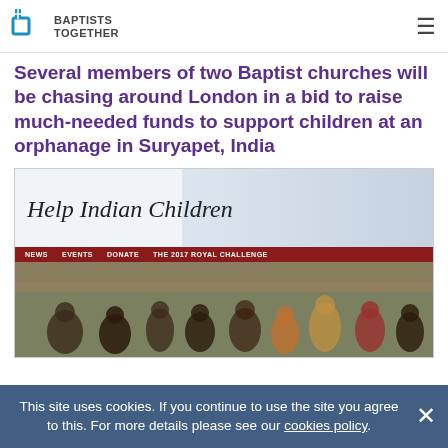BAPTISTS TOGETHER
Several members of two Baptist churches will be chasing around London in a bid to raise much-needed funds to support children at an orphanage in Suryapet, India
[Figure (screenshot): Screenshot of the 'Help Indian Children' website showing the site header with decorative text 'Help Indian Children', a dark red navigation bar with items NEWS, EVENTS, DONATE, THE 2017 ROYAL CHALLENGE, and a photo of Indian children sitting outdoors.]
This site uses cookies. If you continue to use the site you agree to this. For more details please see our cookies policy.